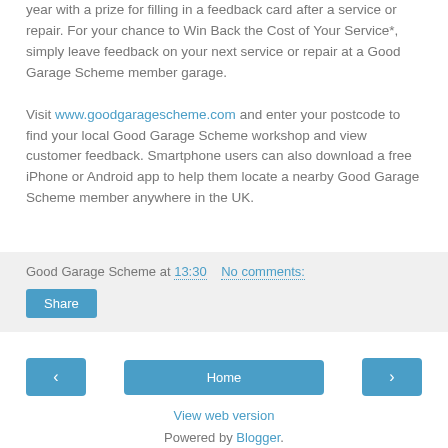year with a prize for filling in a feedback card after a service or repair. For your chance to Win Back the Cost of Your Service*, simply leave feedback on your next service or repair at a Good Garage Scheme member garage.

Visit www.goodgaragescheme.com and enter your postcode to find your local Good Garage Scheme workshop and view customer feedback. Smartphone users can also download a free iPhone or Android app to help them locate a nearby Good Garage Scheme member anywhere in the UK.
Good Garage Scheme at 13:30   No comments:
Share
‹
Home
›
View web version
Powered by Blogger.